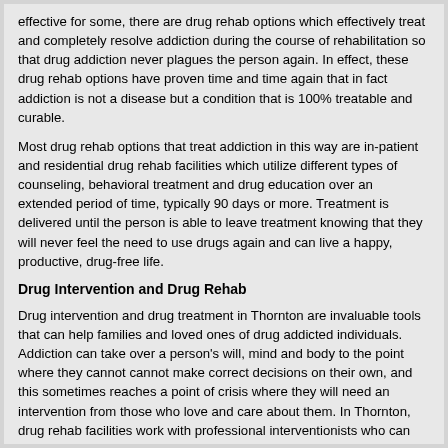effective for some, there are drug rehab options which effectively treat and completely resolve addiction during the course of rehabilitation so that drug addiction never plagues the person again. In effect, these drug rehab options have proven time and time again that in fact addiction is not a disease but a condition that is 100% treatable and curable.
Most drug rehab options that treat addiction in this way are in-patient and residential drug rehab facilities which utilize different types of counseling, behavioral treatment and drug education over an extended period of time, typically 90 days or more. Treatment is delivered until the person is able to leave treatment knowing that they will never feel the need to use drugs again and can live a happy, productive, drug-free life.
Drug Intervention and Drug Rehab
Drug intervention and drug treatment in Thornton are invaluable tools that can help families and loved ones of drug addicted individuals. Addiction can take over a person's will, mind and body to the point where they cannot cannot make correct decisions on their own, and this sometimes reaches a point of crisis where they will need an intervention from those who love and care about them. In Thornton, drug rehab facilities work with professional interventionists who can help orchestrate and supervise drug interventions so that the addict can finally find his way to recovery.
Most drug interventions can be orchestrated and held within a matter of days or even hours as needed, and professional interventionists are trained and knowledgeable in dealing with even the toughest cases to get individuals into drug treatment. The alternatives are grim, and most individuals who don't receive such an intervention will lose their lives to drugs. Once the person is confronted by means of a drug intervention